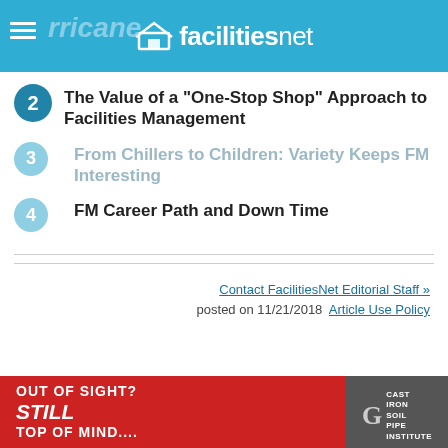facilitiesnet
2  The Value of a "One-Stop Shop" Approach to Facilities Management
3  From Chillers to Children: Variety Keeps FM Interesting
4  FM Career Path and Down Time
Contact FacilitiesNet Editorial Staff »
posted on 11/21/2018   Article Use Policy
[Figure (photo): Advertisement banner: Out of Sight? Still Top of Mind. - Cast Iron Soil Pipe Institute]